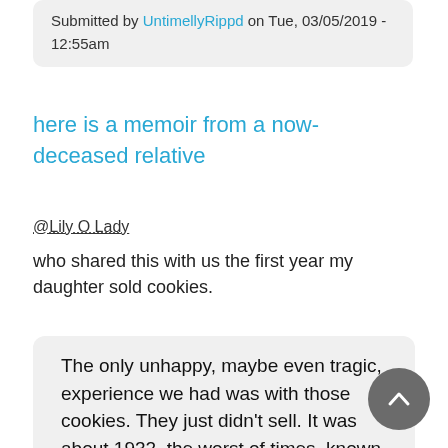Submitted by UntimellyRippd on Tue, 03/05/2019 - 12:55am
here is a memoir from a now-deceased relative
@Lily O Lady
who shared this with us the first year my daughter sold cookies.
The only unhappy, maybe even tragic, experience we had was with those cookies. They just didn't sell. It was about 1932, the worst of times, known as the Great Depression, and the Scout headquarters, some where in down town